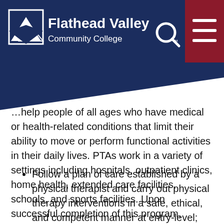[Figure (logo): Flathead Valley Community College logo with navigation header in dark navy blue. Logo shows mountain/diamond icon on left, text 'Flathead Valley Community College' in white. Search icon and red hamburger menu button on right.]
…help people of all ages who have medical or health-related conditions that limit their ability to move or perform functional activities in their daily lives. PTAs work in a variety of settings including hospitals, outpatient clinics, home health, extended care facilities, schools, and sports facilities. Upon successful completion of this program, students will be able to
Follow a plan of care established by a physical therapist and carry out physical therapy interventions in a safe, ethical, and competent manner at entry-level;
Demonstrate effective written, oral, and nonverbal communication skills with patients,